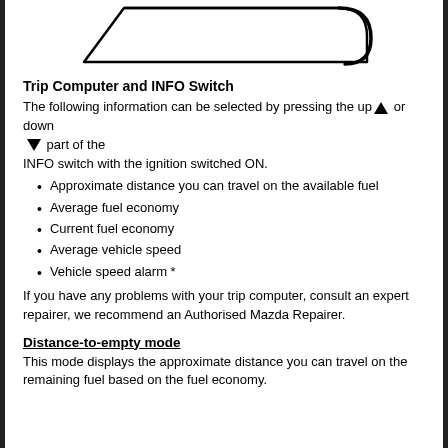[Figure (illustration): Partial outline of a vehicle dashboard or display element, showing a trapezoidal/parallelogram shape with rounded corner on the right side, in black outline on white background.]
Trip Computer and INFO Switch
The following information can be selected by pressing the up ▲ or down ▼ part of the INFO switch with the ignition switched ON.
Approximate distance you can travel on the available fuel
Average fuel economy
Current fuel economy
Average vehicle speed
Vehicle speed alarm *
If you have any problems with your trip computer, consult an expert repairer, we recommend an Authorised Mazda Repairer.
Distance-to-empty mode
This mode displays the approximate distance you can travel on the remaining fuel based on the fuel economy.